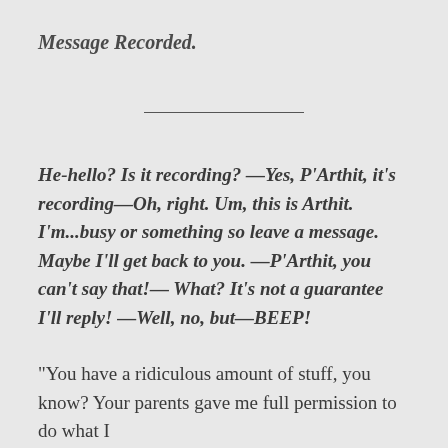Message Recorded.
He-hello? Is it recording? —Yes, P'Arthit, it's recording—Oh, right. Um, this is Arthit. I'm...busy or something so leave a message. Maybe I'll get back to you. —P'Arthit, you can't say that!— What? It's not a guarantee I'll reply! —Well, no, but—BEEP!
“You have a ridiculous amount of stuff, you know? Your parents gave me full permission to do what I